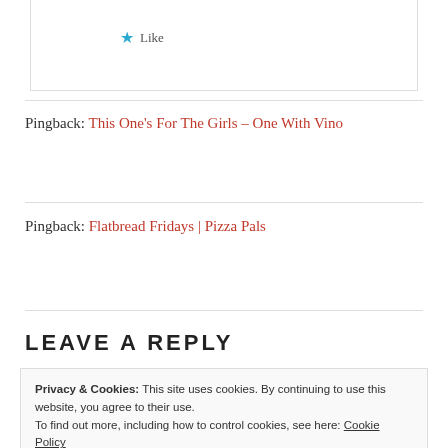[Figure (other): Like button with blue star icon]
Pingback: This One’s For The Girls – One With Vino
Pingback: Flatbread Fridays | Pizza Pals
LEAVE A REPLY
Privacy & Cookies: This site uses cookies. By continuing to use this website, you agree to their use.
To find out more, including how to control cookies, see here: Cookie Policy
Close and accept